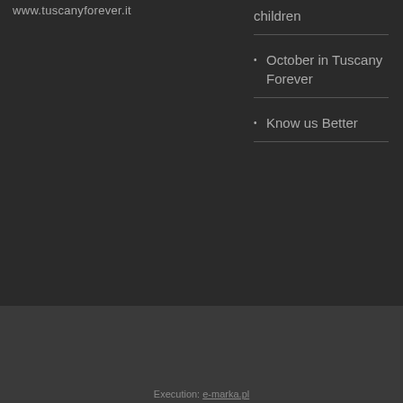www.tuscanyforever.it
children
October in Tuscany Forever
Know us Better
Execution: e-marka.pl